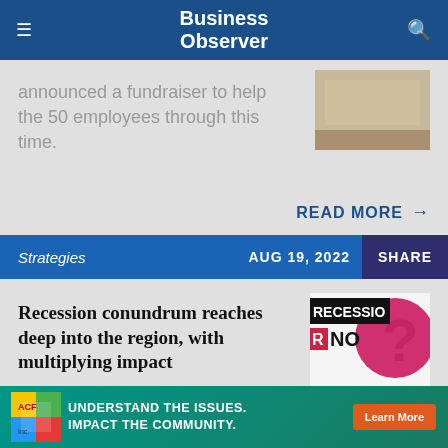Business Observer
announced a fundraiser to help the 50 employees through this time.
READ MORE →
Strategies   AUG 19, 2022   SHARE
Recession conundrum reaches deep into the region, with multiplying impact
[Figure (illustration): Recession/No Recession graphic with bold text and question mark design]
[Figure (infographic): Advertisement banner: Understand the Issues. Impact the Community. Learn More button with colorful logo.]